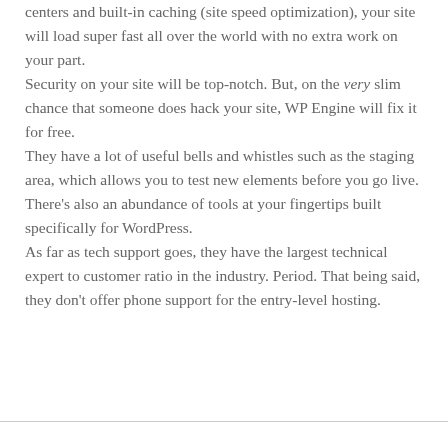centers and built-in caching (site speed optimization), your site will load super fast all over the world with no extra work on your part.
Security on your site will be top-notch. But, on the very slim chance that someone does hack your site, WP Engine will fix it for free.
They have a lot of useful bells and whistles such as the staging area, which allows you to test new elements before you go live. There's also an abundance of tools at your fingertips built specifically for WordPress.
As far as tech support goes, they have the largest technical expert to customer ratio in the industry. Period. That being said, they don't offer phone support for the entry-level hosting.